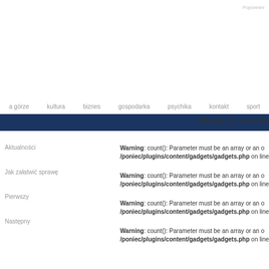Poprzedni
a górze   kultura   biznes   gospodarka   psychika   kontakt   sport
Warning: Use of undefine
Aktualności
Warning: count(): Parameter must be an array or an o /poniec/plugins/content/gadgets/gadgets.php on line
Jak załatwić sprawę
Warning: count(): Parameter must be an array or an o /poniec/plugins/content/gadgets/gadgets.php on line
Pierwszy
Warning: count(): Parameter must be an array or an o /poniec/plugins/content/gadgets/gadgets.php on line
Następny
Warning: count(): Parameter must be an array or an o /poniec/plugins/content/gadgets/gadgets.php on line